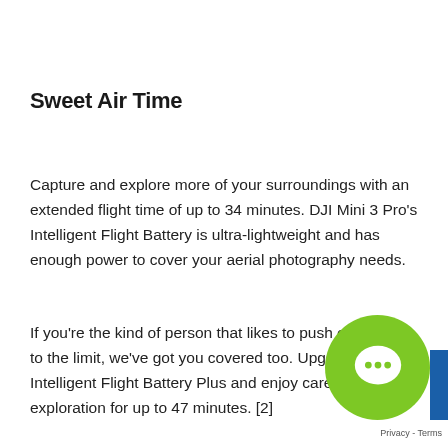Sweet Air Time
Capture and explore more of your surroundings with an extended flight time of up to 34 minutes. DJI Mini 3 Pro's Intelligent Flight Battery is ultra-lightweight and has enough power to cover your aerial photography needs.
If you're the kind of person that likes to push each flight to the limit, we've got you covered too. Upgrade to Intelligent Flight Battery Plus and enjoy care-free exploration for up to 47 minutes. [2]
[Figure (illustration): Green circular chat/support bubble icon overlaid on the bottom-right of the page, partially obscuring text. A small blue rectangle and privacy/terms text also visible at the bottom right corner.]